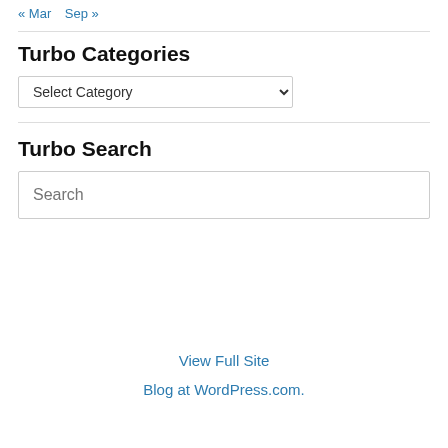« Mar   Sep »
Turbo Categories
Select Category (dropdown)
Turbo Search
Search (input box)
View Full Site
Blog at WordPress.com.